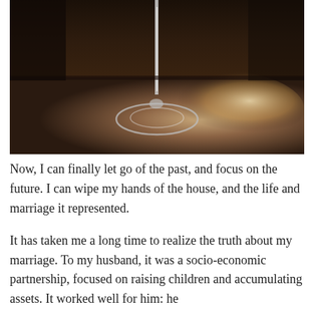[Figure (photo): A photograph of an empty wine glass sitting on a dark wooden table or bar surface, shot from close-up with a dark background and some light reflection on the surface.]
Now, I can finally let go of the past, and focus on the future. I can wipe my hands of the house, and the life and marriage it represented.
It has taken me a long time to realize the truth about my marriage. To my husband, it was a socio-economic partnership, focused on raising children and accumulating assets. It worked well for him: he